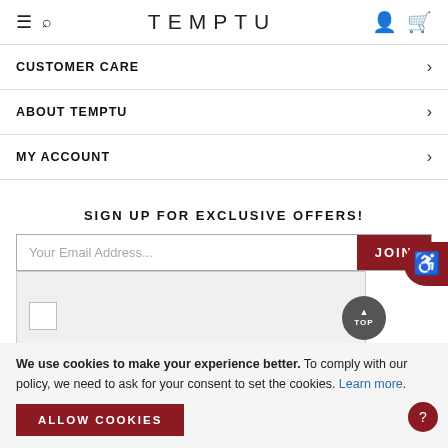TEMPTU
CUSTOMER CARE
ABOUT TEMPTU
MY ACCOUNT
SIGN UP FOR EXCLUSIVE OFFERS!
[Figure (screenshot): Email signup form with text input placeholder 'Your Email Address...' and a dark red JOIN button, followed by a reCAPTCHA checkbox widget]
[Figure (infographic): Social media icons row: Facebook, Instagram, Twitter/X, YouTube]
We use cookies to make your experience better. To comply with our policy, we need to ask for your consent to set the cookies. Learn more.
ALLOW COOKIES